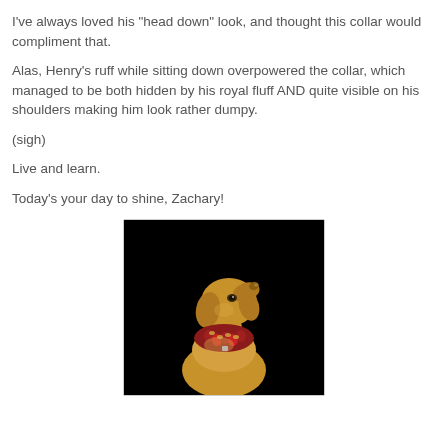I've always loved his "head down" look, and thought this collar would compliment that.

Alas, Henry's ruff while sitting down overpowered the collar, which managed to be both hidden by his royal fluff AND quite visible on his shoulders making him look rather dumpy.

(sigh)

Live and learn.

Today's your day to shine, Zachary!
[Figure (photo): A golden retriever dog sitting against a black background, wearing a red decorative collar/ruff around its neck, looking upward to the right.]